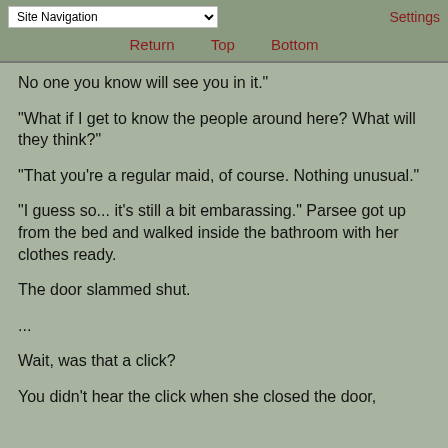Site Navigation | Return | Top | Bottom | Settings
No one you know will see you in it."
"What if I get to know the people around here? What will they think?"
"That you're a regular maid, of course. Nothing unusual."
"I guess so... it's still a bit embarassing." Parsee got up from the bed and walked inside the bathroom with her clothes ready.
The door slammed shut.
...
Wait, was that a click?
You didn't hear the click when she closed the door, did you?